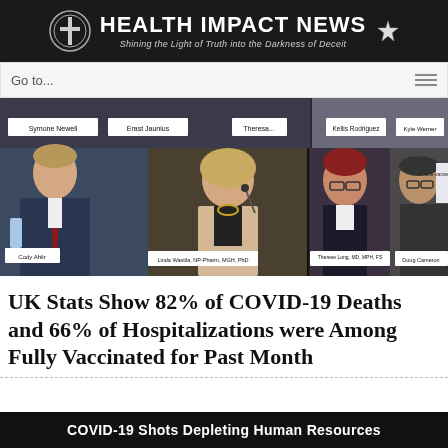HEALTH IMPACT NEWS — Shining the Light of Truth into the Darkness of Deceit
[Figure (photo): Screenshot of a hearing panel with four people: Cody Ahlir, Linda Wastila (NP-Pharm, MGH, PhD), Therese Long (MD, MPH, FS), Doug Cameron. Name placards visible: Symone Newell, Erast Jaunius, Kellis Rodriguez, Kyle Werner. Anti-vaxxe sign partially visible.]
UK Stats Show 82% of COVID-19 Deaths and 66% of Hospitalizations were Among Fully Vaccinated for Past Month
COVID-19 Shots Depleting Human Resources